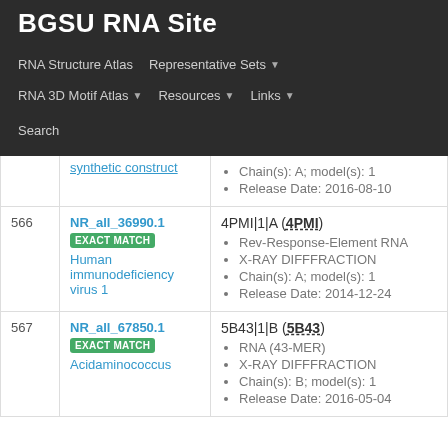BGSU RNA Site
RNA Structure Atlas | Representative Sets ▼ | RNA 3D Motif Atlas ▼ | Resources ▼ | Links ▼ | Search
| # | Equivalence Class | Representative |
| --- | --- | --- |
|  | synthetic construct (partial) | Chain(s): A; model(s): 1
Release Date: 2016-08-10 |
| 566 | NR_all_36990.1
EXACT MATCH
Human immunodeficiency virus 1 | 4PMI|1|A (4PMI)
Rev-Response-Element RNA
X-RAY DIFFFRACTION
Chain(s): A; model(s): 1
Release Date: 2014-12-24 |
| 567 | NR_all_67850.1
EXACT MATCH
Acidaminococcus | 5B43|1|B (5B43)
RNA (43-MER)
X-RAY DIFFFRACTION
Chain(s): B; model(s): 1
Release Date: 2016-05-04 |